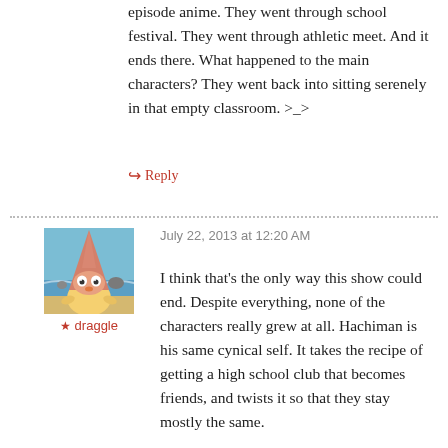episode anime. They went through school festival. They went through athletic meet. And it ends there. What happened to the main characters? They went back into sitting serenely in that empty classroom. >_>
↪ Reply
[Figure (photo): Avatar image of a cartoon bird-like character with a cone/hat shape, standing on a beach]
★ draggle
July 22, 2013 at 12:20 AM
I think that's the only way this show could end. Despite everything, none of the characters really grew at all. Hachiman is his same cynical self. It takes the recipe of getting a high school club that becomes friends, and twists it so that they stay mostly the same.